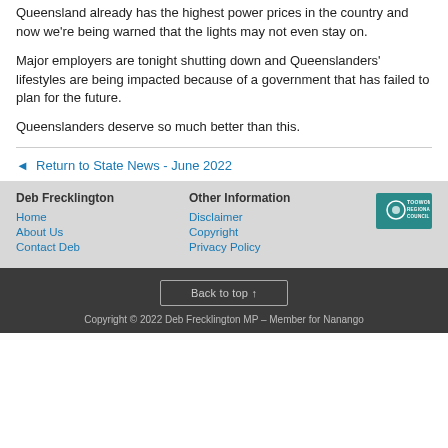Queensland already has the highest power prices in the country and now we're being warned that the lights may not even stay on.
Major employers are tonight shutting down and Queenslanders' lifestyles are being impacted because of a government that has failed to plan for the future.
Queenslanders deserve so much better than this.
◄ Return to State News - June 2022
Deb Frecklington  Other Information
Home  Disclaimer
About Us  Copyright
Contact Deb  Privacy Policy
Back to top ↑
Copyright © 2022 Deb Frecklington MP – Member for Nanango